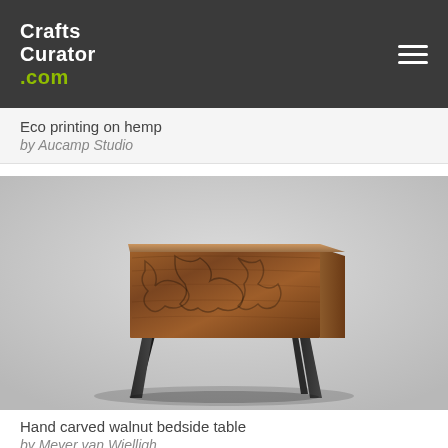CraftsCurator.com
Eco printing on hemp
by Aucamp Studio
[Figure (photo): Hand carved walnut bedside table with decorative relief carving on the drawer front, sitting on angled black tapered legs, photographed against a light grey background.]
Hand carved walnut bedside table
by Meyer van Wielligh